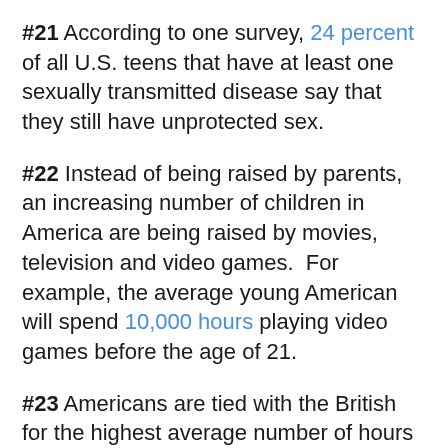#21 According to one survey, 24 percent of all U.S. teens that have at least one sexually transmitted disease say that they still have unprotected sex.
#22 Instead of being raised by parents, an increasing number of children in America are being raised by movies, television and video games.  For example, the average young American will spend 10,000 hours playing video games before the age of 21.
#23 Americans are tied with the British for the highest average number of hours spent watching television each week.
#24 There are more than 3 million reports of child abuse in the United States every single